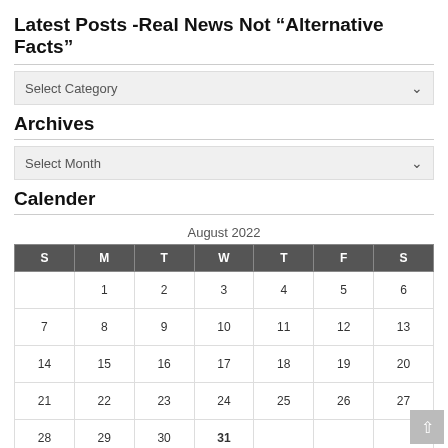Latest Posts -Real News Not “Alternative Facts”
Select Category
Archives
Select Month
Calender
| S | M | T | W | T | F | S |
| --- | --- | --- | --- | --- | --- | --- |
|  | 1 | 2 | 3 | 4 | 5 | 6 |
| 7 | 8 | 9 | 10 | 11 | 12 | 13 |
| 14 | 15 | 16 | 17 | 18 | 19 | 20 |
| 21 | 22 | 23 | 24 | 25 | 26 | 27 |
| 28 | 29 | 30 | 31 |  |  |  |